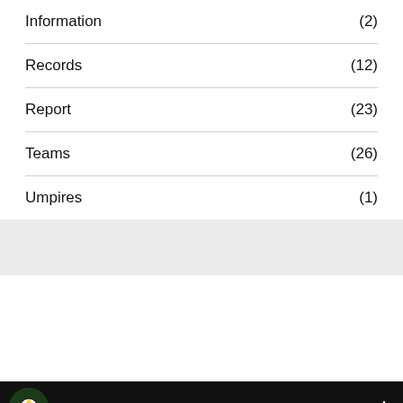Information (2)
Records (12)
Report (23)
Teams (26)
Umpires (1)
[Figure (screenshot): Video thumbnail bar showing 'Stream Announcement - 2018' with a globe/8-ball logo on black background]